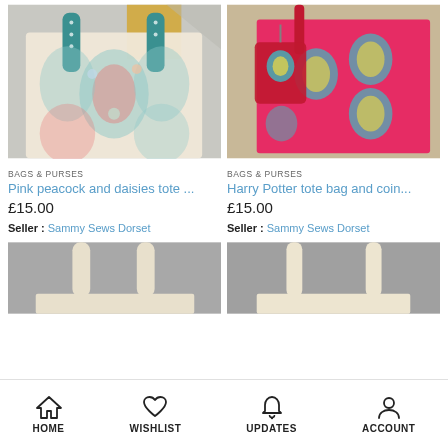[Figure (photo): Pink peacock and daisies tote bag with teal handles on geometric patterned background]
[Figure (photo): Hot pink Harry Potter tote bag and coin purse with paisley pattern]
BAGS & PURSES
Pink peacock and daisies tote ...
£15.00
Seller : Sammy Sews Dorset
BAGS & PURSES
Harry Potter tote bag and coin...
£15.00
Seller : Sammy Sews Dorset
[Figure (photo): Plain cream/natural tote bag handles top view on grey background]
[Figure (photo): Plain cream/natural tote bag handles top view on grey background]
HOME   WISHLIST   UPDATES   ACCOUNT